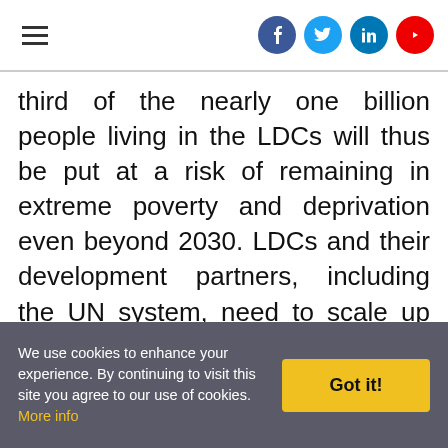Navigation bar with hamburger menu and social icons (Facebook, Twitter, LinkedIn, YouTube)
third of the nearly one billion people living in the LDCs will thus be put at a risk of remaining in extreme poverty and deprivation even beyond 2030. LDCs and their development partners, including the UN system, need to scale up efforts to make a real difference,” said The State of the LDCs 2018 report published by the United Nations Office of the High Representative for the Least Developed Countries, Landlocked Developing
We use cookies to enhance your experience. By continuing to visit this site you agree to our use of cookies. More info